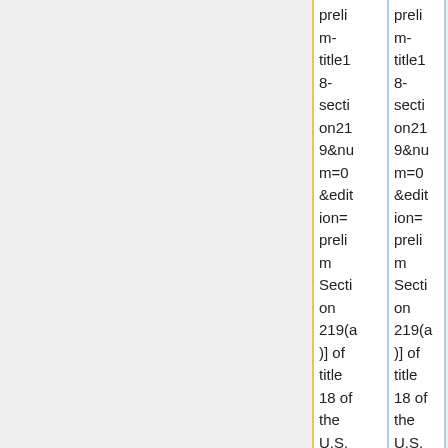|  | preli m- title1 8- secti on21 9&nu m=0 &edit ion= preli m Secti on 219(a )] of title 18 of the U.S. | preli m- title1 8- secti on21 9&nu m=0 &edit ion= preli m Secti on 219(a )] of title 18 of the U.S. |
| --- | --- | --- |